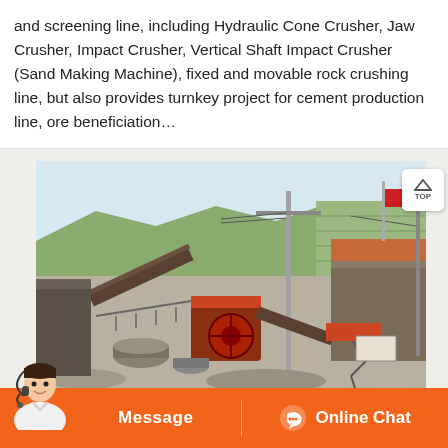and screening line, including Hydraulic Cone Crusher, Jaw Crusher, Impact Crusher, Vertical Shaft Impact Crusher (Sand Making Machine), fixed and movable rock crushing line, but also provides turnkey project for cement production line, ore beneficiation…
[Figure (photo): Outdoor industrial quarry/crushing site showing heavy machinery including jaw crusher and conveyor equipment, a tall metal pole, a red flag, stone buildings, hillside with vegetation in background.]